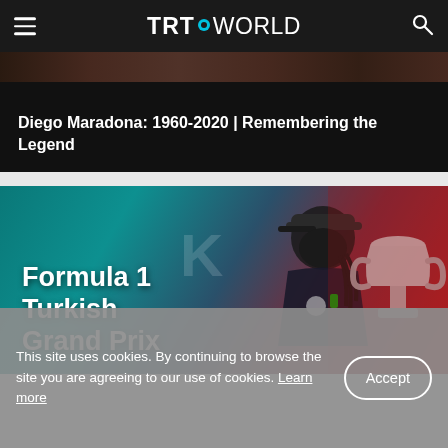TRT WORLD
Diego Maradona: 1960-2020 | Remembering the Legend
[Figure (photo): Formula 1 Turkish Grand Prix promotional image with a racing driver wearing mask and cap holding a trophy, against a teal-to-red gradient background with 'Formula 1 Turkish Grand Prix' text overlay]
This site uses cookies. By continuing to browse the site you are agreeing to our use of cookies. Learn more